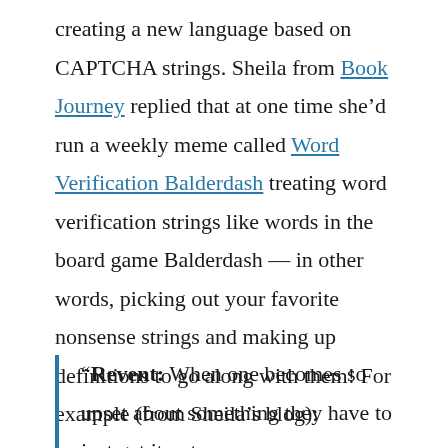creating a new language based on CAPTCHA strings. Sheila from Book Journey replied that at one time she'd run a weekly meme called Word Verification Balderdash treating word verification strings like words in the board game Balderdash — in other words, picking out your favorite nonsense strings and making up definitions to go along with them! For example (from Sheila's blog):
“Revent: When one becomes so upset about something they have to just get it out